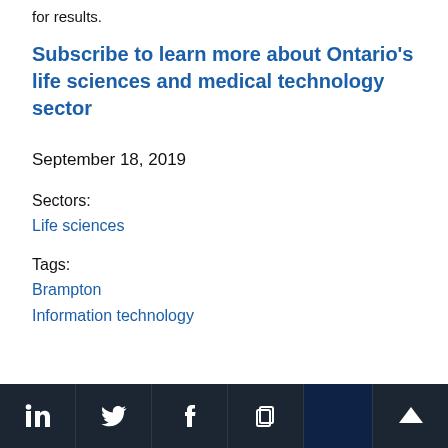for results.
Subscribe to learn more about Ontario's life sciences and medical technology sector
September 18, 2019
Sectors:
Life sciences
Tags:
Brampton
Information technology
Social share icons: LinkedIn, Twitter, Facebook, Copy link; Scroll to top button